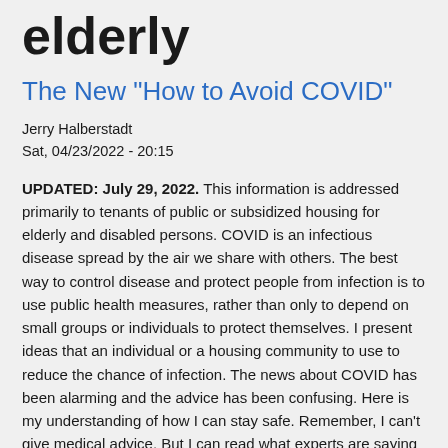elderly
The New "How to Avoid COVID"
Jerry Halberstadt
Sat, 04/23/2022 - 20:15
UPDATED: July 29, 2022. This information is addressed primarily to tenants of public or subsidized housing for elderly and disabled persons. COVID is an infectious disease spread by the air we share with others. The best way to control disease and protect people from infection is to use public health measures, rather than only to depend on small groups or individuals to protect themselves. I present ideas that an individual or a housing community to use to reduce the chance of infection. The news about COVID has been alarming and the advice has been confusing. Here is my understanding of how I can stay safe. Remember, I can't give medical advice. But I can read what experts are saying and select their soundest